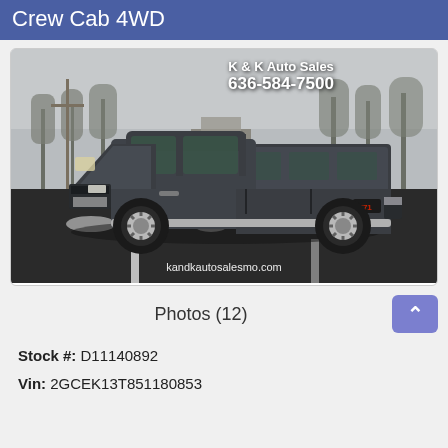Crew Cab 4WD
[Figure (photo): Side view of a dark gray Chevrolet Silverado Z71 Crew Cab 4WD pickup truck with a camper shell/topper, parked in a lot. Bare winter trees visible in background. Overlaid text: K & K Auto Sales, 636-584-7500, kandkautosalesmo.com]
Photos (12)
Stock #: D11140892
Vin: 2GCEK13T851180853